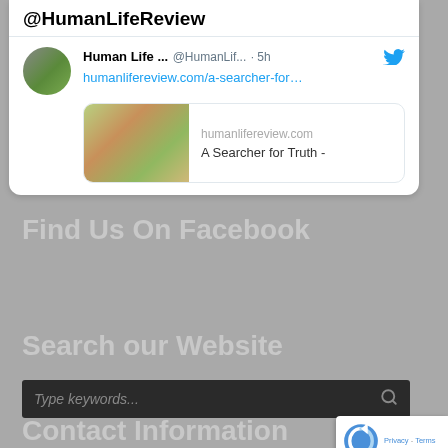@HumanLifeReview
[Figure (screenshot): Twitter/X tweet card showing Human Life Review account (@HumanLifif...) posted 5h ago with link humanlifereview.com/a-searcher-for... and a preview card showing humanlifereview.com and 'A Searcher for Truth -']
Find Us On Facebook
Search our Website
Type keywords...
Contact Information